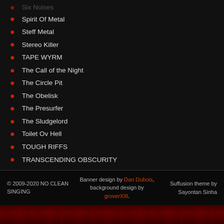Six Noises
Spirit Of Metal
Steff Metal
Stereo Killer
TAPE WYRM
The Call of the Night
The Circle Pit
The Obelisk
The Presurfer
The Sludgelord
Toilet Ov Hell
TOUGH RIFFS
TRANSCENDING OBSCURITY
TYWKIWDBI
Valley of Steel
© 2009-2020 NO CLEAN SINGING | Banner design by Dan Dubois, background design by groverXIII. | Suffusion theme by Sayontan Sinha